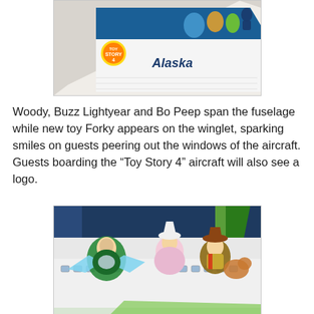[Figure (photo): Alaska Airlines boarding pass or document featuring Toy Story 4 branding with 'Alaska' text and Toy Story characters visible on what appears to be an aircraft graphic]
Woody, Buzz Lightyear and Bo Peep span the fuselage while new toy Forky appears on the winglet, sparking smiles on guests peering out the windows of the aircraft. Guests boarding the "Toy Story 4" aircraft will also see a logo.
[Figure (photo): Alaska Airlines aircraft fuselage featuring Toy Story 4 characters — Buzz Lightyear, Bo Peep, and Woody — painted large on the side of the plane, shown in a hangar with blue and green wing visible]